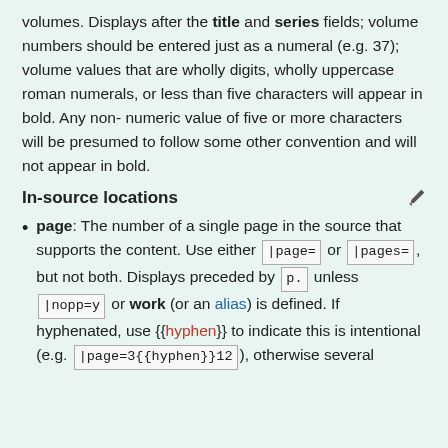volumes. Displays after the title and series fields; volume numbers should be entered just as a numeral (e.g. 37); volume values that are wholly digits, wholly uppercase roman numerals, or less than five characters will appear in bold. Any non-numeric value of five or more characters will be presumed to follow some other convention and will not appear in bold.
In-source locations
page: The number of a single page in the source that supports the content. Use either |page= or |pages= , but not both. Displays preceded by p. unless |nopp=y or work (or an alias) is defined. If hyphenated, use {{hyphen}} to indicate this is intentional (e.g. |page=3{{hyphen}}12 ), otherwise several